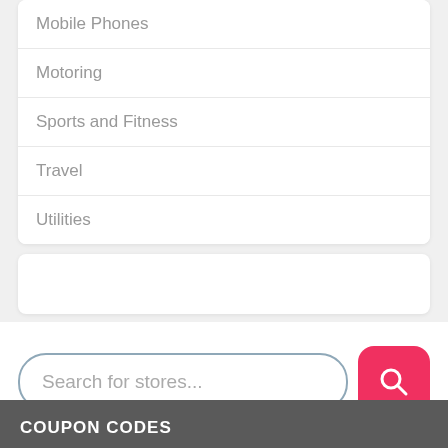Mobile Phones
Motoring
Sports and Fitness
Travel
Utilities
Search for stores...
COUPON CODES